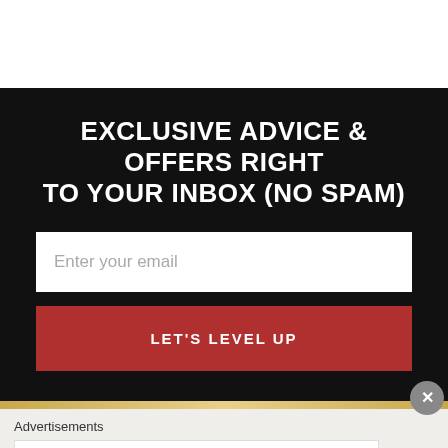EXCLUSIVE ADVICE & OFFERS RIGHT TO YOUR INBOX (NO SPAM)
Enter your email
LET'S LEVEL UP
Advertisements
[Figure (logo): Longreads logo with red circle containing L]
Bringing you the best stories on the web since 2009.